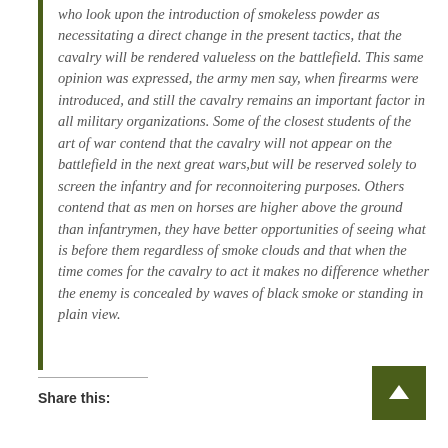who look upon the introduction of smokeless powder as necessitating a direct change in the present tactics, that the cavalry will be rendered valueless on the battlefield. This same opinion was expressed, the army men say, when firearms were introduced, and still the cavalry remains an important factor in all military organizations. Some of the closest students of the art of war contend that the cavalry will not appear on the battlefield in the next great wars,but will be reserved solely to screen the infantry and for reconnoitering purposes. Others contend that as men on horses are higher above the ground than infantrymen, they have better opportunities of seeing what is before them regardless of smoke clouds and that when the time comes for the cavalry to act it makes no difference whether the enemy is concealed by waves of black smoke or standing in plain view.
Share this: